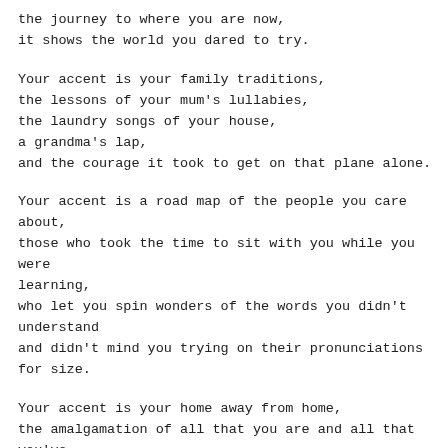the journey to where you are now,
it shows the world you dared to try.
Your accent is your family traditions,
the lessons of your mum's lullabies,
the laundry songs of your house,
a grandma's lap,
and the courage it took to get on that plane alone.
Your accent is a road map of the people you care about,
those who took the time to sit with you while you were learning,
who let you spin wonders of the words you didn't understand
and didn't mind you trying on their pronunciations for size.
Your accent is your home away from home,
the amalgamation of all that you are and all that you've been.